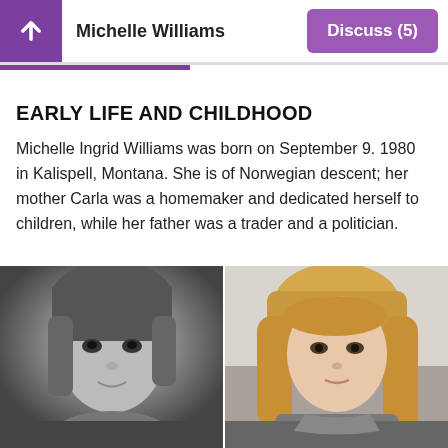Michelle Williams   Discuss (5)
EARLY LIFE AND CHILDHOOD
Michelle Ingrid Williams was born on September 9. 1980 in Kalispell, Montana. She is of Norwegian descent; her mother Carla was a homemaker and dedicated herself to children, while her father was a trader and a politician.
[Figure (photo): Two side-by-side photos of Michelle Williams: left is a black-and-white childhood photo, right is a color photo of her as a young adult with long blonde hair.]